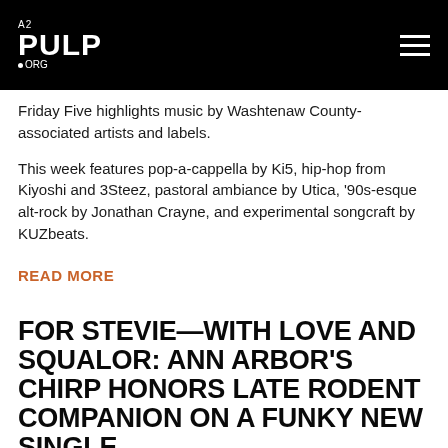A2PULP.ORG
Friday Five highlights music by Washtenaw County-associated artists and labels.
This week features pop-a-cappella by Ki5, hip-hop from Kiyoshi and 3Steez, pastoral ambiance by Utica, '90s-esque alt-rock by Jonathan Crayne, and experimental songcraft by KUZbeats.
READ MORE
FOR STEVIE—WITH LOVE AND SQUALOR: ANN ARBOR'S CHIRP HONORS LATE RODENT COMPANION ON A FUNKY NEW SINGLE